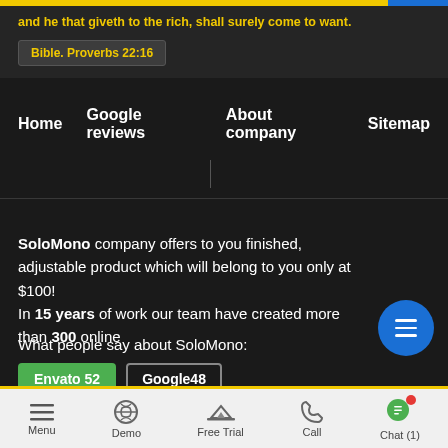and he that giveth to the rich, shall surely come to want.
Bible. Proverbs 22:16
Home   Google reviews   About company   Sitemap
SoloMono company offers to you finished, adjustable product which will belong to you only at $100! In 15 years of work our team have created more than 300 online
What people say about SoloMono:
Envato 52   Google48
ABOUT
SOLOMONO
Menu   Demo   Free Trial   Call   Chat (1)